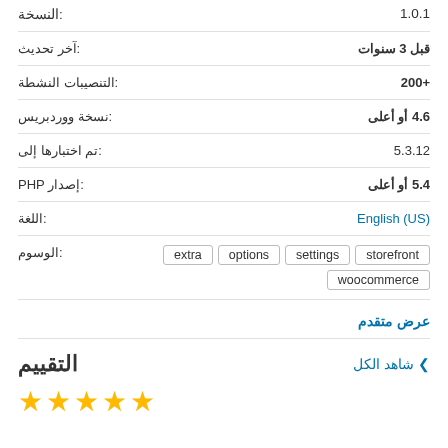النسخة: 1.0.1
آخر تحديث: قبل 3 سنوات
التنصيبات النشطة: +200
نسخة ووردبريس: 4.6 أو أعلى
تم اختبارها إلى: 5.3.12
إصدار PHP: 5.4 أو أعلى
اللغة: English (US)
الوسوم: storefront settings options extra woocommerce
عرض متقدم
التقييم
شاهد الكل